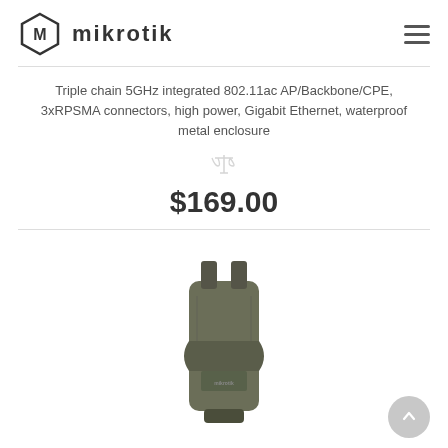[Figure (logo): MikroTik logo: hexagonal icon with stylized M inside, followed by mikrotik text in bold dark grey]
Triple chain 5GHz integrated 802.11ac AP/Backbone/CPE, 3xRPSMA connectors, high power, Gigabit Ethernet, waterproof metal enclosure
$169.00
[Figure (photo): MikroTik SXT ac product photo: olive/dark green waterproof metal enclosure, rectangular with mounting hardware visible, viewed from back/side angle]